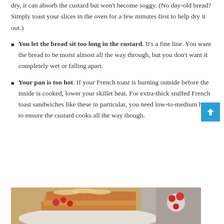dry, it can absorb the custard but won't become soggy. (No day-old bread? Simply toast your slices in the oven for a few minutes first to help dry it out.)
You let the bread sit too long in the custard. It's a fine line. You want the bread to be moist almost all the way through, but you don't want it completely wet or falling apart.
Your pan is too hot. If your French toast is burning outside before the inside is cooked, lower your skillet heat. For extra-thick stuffed French toast sandwiches like these in particular, you need low-to-medium heat to ensure the custard cooks all the way though.
[Figure (photo): Photo of French toast stacked on a plate with raspberries and strawberries on a grey background]